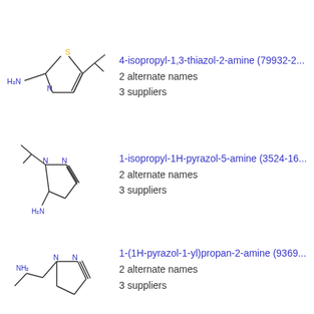[Figure (schematic): Chemical structure of 4-isopropyl-1,3-thiazol-2-amine: thiazole ring with NH2 group and isopropyl substituent]
4-isopropyl-1,3-thiazol-2-amine (79932-2...
2 alternate names
3 suppliers
[Figure (schematic): Chemical structure of 1-isopropyl-1H-pyrazol-5-amine: pyrazole ring with isopropyl group and NH2 substituent]
1-isopropyl-1H-pyrazol-5-amine (3524-16...
2 alternate names
3 suppliers
[Figure (schematic): Chemical structure of 1-(1H-pyrazol-1-yl)propan-2-amine: pyrazole ring with propan-2-amine side chain]
1-(1H-pyrazol-1-yl)propan-2-amine (9369...
2 alternate names
3 suppliers